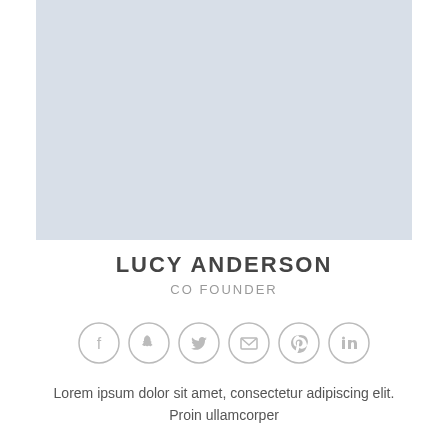[Figure (photo): Profile photo placeholder area with light blue-grey background]
LUCY ANDERSON
CO FOUNDER
[Figure (infographic): Row of 6 social media icon circles: Facebook, Snapchat, Twitter, Email, Pinterest, LinkedIn]
Lorem ipsum dolor sit amet, consectetur adipiscing elit. Proin ullamcorper